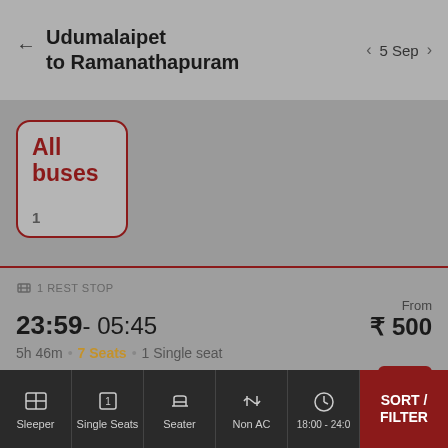Udumalaipet to Ramanathapuram — 5 Sep
All buses
1
1 REST STOP
23:59 - 05:45
5h 46m • 7 Seats • 1 Single seat
Arthi Travels
NON A/C Semi Sleeper / Sleeper (2+1)
From ₹ 500
★ 2.5
🪑 10
Sleeper | Single Seats | Seater | Non AC | 18:00 - 24:00 | SORT / FILTER